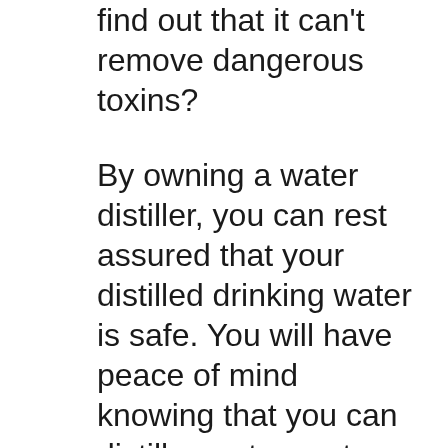find out that it can't remove dangerous toxins?
By owning a water distiller, you can rest assured that your distilled drinking water is safe. You will have peace of mind knowing that you can distill your tap water into the safest, purest water possible for you and your family. By making your own distilled water, you are able to take care of yourself and perhaps even some of your neighbors. This is good for you and your community. FEMA, the Red Cross and other organizations work tirelessly making sure